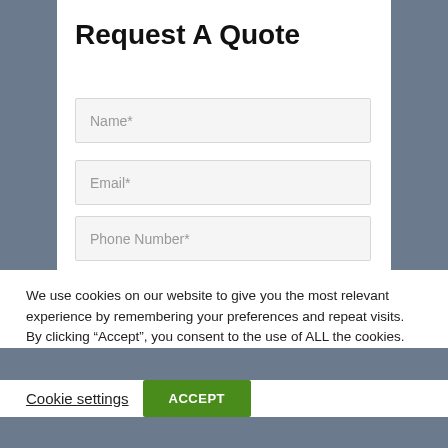Request A Quote
Name*
Email*
Phone Number*
We use cookies on our website to give you the most relevant experience by remembering your preferences and repeat visits. By clicking “Accept”, you consent to the use of ALL the cookies.
Cookie settings
ACCEPT